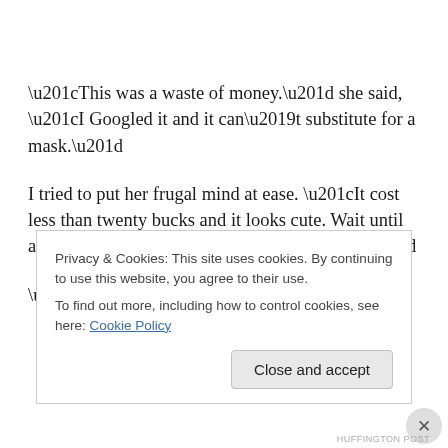“This was a waste of money.” she said, “I Googled it and it can’t substitute for a mask.”
I tried to put her frugal mind at ease. “It cost less than twenty bucks and it looks cute. Wait until after the vaccine and you can set a new trend.”
“When would I wear it?”
Privacy & Cookies: This site uses cookies. By continuing to use this website, you agree to their use.
To find out more, including how to control cookies, see here: Cookie Policy
HUFFINGTON POST